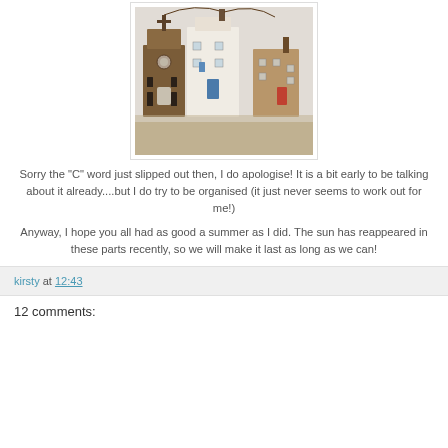[Figure (photo): Photo of miniature driftwood village/house sculptures hanging on wire, showing small wooden buildings including what appears to be a church and houses with colored doors and windows, on a white background]
Sorry the "C" word just slipped out then, I do apologise! It is a bit early to be talking about it already....but I do try to be organised (it just never seems to work out for me!)
Anyway, I hope you all had as good a summer as I did. The sun has reappeared in these parts recently, so we will make it last as long as we can!
kirsty at 12:43
12 comments: